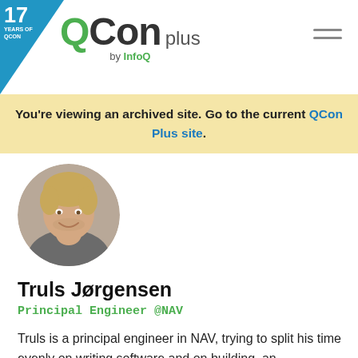17 YEARS OF QCON — QCon plus by InfoQ
You're viewing an archived site. Go to the current QCon Plus site.
[Figure (photo): Circular profile photo of Truls Jørgensen, a blond man smiling, wearing a gray jacket.]
Truls Jørgensen
Principal Engineer @NAV
Truls is a principal engineer in NAV, trying to split his time evenly on writing software and on building  an organization that creates sustainable services that are adaptable to change over time.  Been a developer for over 15 years. Co-creator of the technical direction for our...